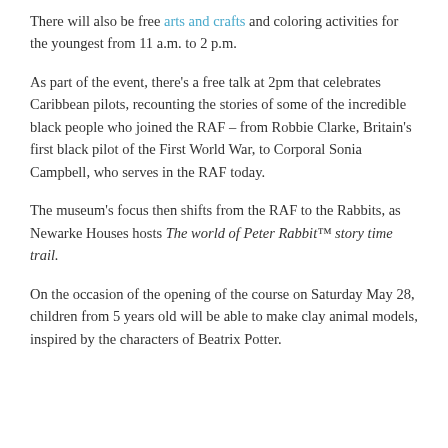There will also be free arts and crafts and coloring activities for the youngest from 11 a.m. to 2 p.m.
As part of the event, there's a free talk at 2pm that celebrates Caribbean pilots, recounting the stories of some of the incredible black people who joined the RAF – from Robbie Clarke, Britain's first black pilot of the First World War, to Corporal Sonia Campbell, who serves in the RAF today.
The museum's focus then shifts from the RAF to the Rabbits, as Newarke Houses hosts The world of Peter Rabbit™ story time trail.
On the occasion of the opening of the course on Saturday May 28, children from 5 years old will be able to make clay animal models, inspired by the characters of Beatrix Potter.